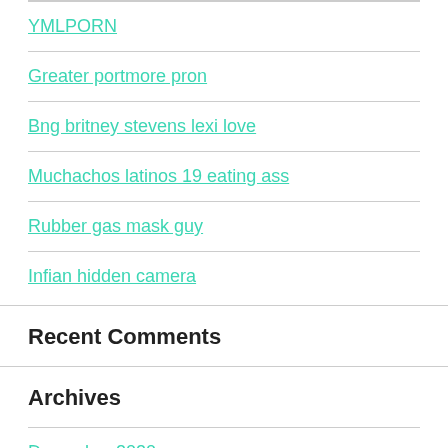YMLPORN
Greater portmore pron
Bng britney stevens lexi love
Muchachos latinos 19 eating ass
Rubber gas mask guy
Infian hidden camera
Recent Comments
Archives
December 2020